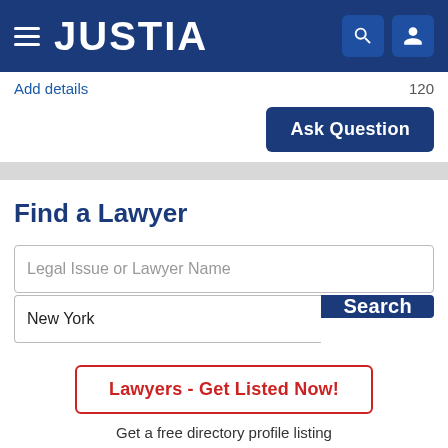[Figure (screenshot): Justia website navigation bar with hamburger menu, JUSTIA logo, search icon, and user profile icon on dark blue background]
Add details
120
Ask Question
Find a Lawyer
Legal Issue or Lawyer Name
New York
Search
Lawyers - Get Listed Now!
Get a free directory profile listing
SPONSORED LISTINGS